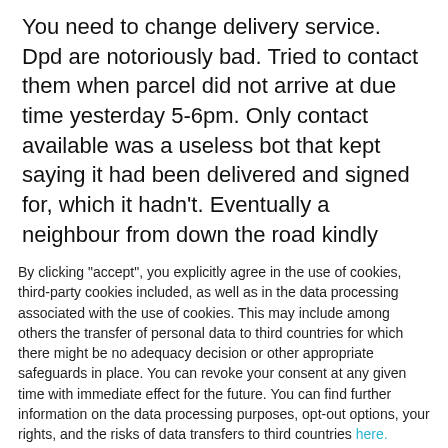You need to change delivery service. Dpd are notoriously bad. Tried to contact them when parcel did not arrive at due time yesterday 5-6pm. Only contact available was a useless bot that kept saying it had been delivered and signed for, which it hadn't. Eventually a neighbour from down the road kindly delivered it as it had been dumped at hers. Lucky for you I have good neighbours or I would now be looking f...
By clicking "accept", you explicitly agree in the use of cookies, third-party cookies included, as well as in the data processing associated with the use of cookies. This may include among others the transfer of personal data to third countries for which there might be no adequacy decision or other appropriate safeguards in place. You can revoke your consent at any given time with immediate effect for the future. You can find further information on the data processing purposes, opt-out options, your rights, and the risks of data transfers to third countries here.
ACCEPT